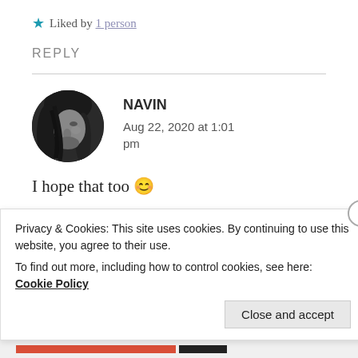★ Liked by 1 person
REPLY
[Figure (photo): Black and white circular profile photo of a person with long hair, face partially visible]
NAVIN
Aug 22, 2020 at 1:01 pm
I hope that too 😊
★ Liked by 1 person
Privacy & Cookies: This site uses cookies. By continuing to use this website, you agree to their use.
To find out more, including how to control cookies, see here: Cookie Policy
Close and accept